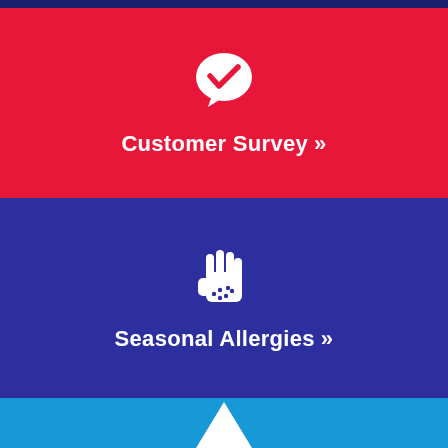[Figure (infographic): Red panel with white speech bubble icon containing a red checkmark, labeled 'Customer Survey >>']
[Figure (infographic): Dark blue panel with white hand/allergy icon with dots, labeled 'Seasonal Allergies >>']
[Figure (infographic): Light blue panel partially visible at bottom with a white triangle/mountain icon]